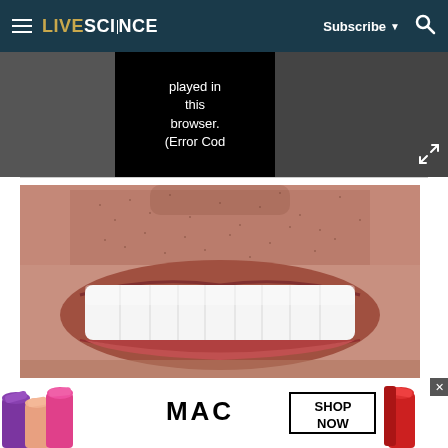LIVESCIENCE — Subscribe — Search
[Figure (screenshot): Video player error message on dark background reading 'played in this browser. (Error Cod']
[Figure (photo): Close-up photo of a man's mouth showing white teeth and stubble beard]
[Figure (photo): MAC cosmetics advertisement showing colorful lipsticks with SHOP NOW button]